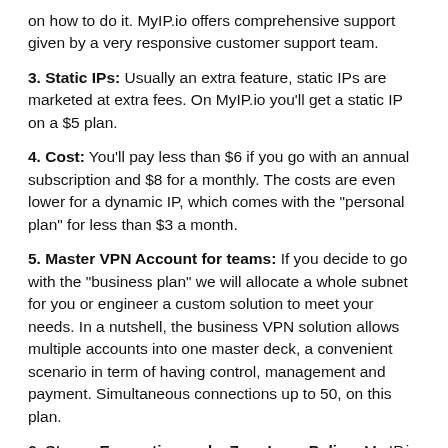on how to do it. MyIP.io offers comprehensive support given by a very responsive customer support team.
3. Static IPs: Usually an extra feature, static IPs are marketed at extra fees. On MyIP.io you'll get a static IP on a $5 plan.
4. Cost: You'll pay less than $6 if you go with an annual subscription and $8 for a monthly. The costs are even lower for a dynamic IP, which comes with the "personal plan" for less than $3 a month.
5. Master VPN Account for teams: If you decide to go with the "business plan" we will allocate a whole subnet for you or engineer a custom solution to meet your needs. In a nutshell, the business VPN solution allows multiple accounts into one master deck, a convenient scenario in term of having control, management and payment. Simultaneous connections up to 50, on this plan.
6. Strong Encryption and a Zero Logs Policy: My IP.io comes bundled with all the strong encryption protocols, supporting all the latest security protocols such as SSTP, PPTP, IPSec, L2TP, SSTP and 128bit –AES,